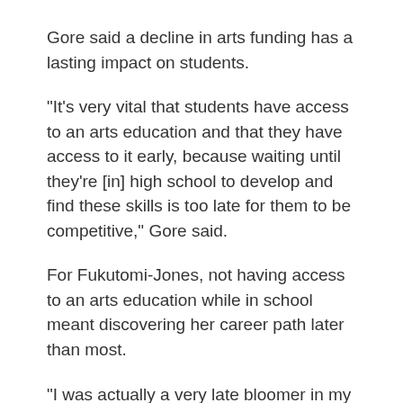Gore said a decline in arts funding has a lasting impact on students.
"It's very vital that students have access to an arts education and that they have access to it early, because waiting until they're [in] high school to develop and find these skills is too late for them to be competitive," Gore said.
For Fukutomi-Jones, not having access to an arts education while in school meant discovering her career path later than most.
"I was actually a very late bloomer in my art career," Fukutomi-Jones said. "I went to LAUSD [Los Angeles Unified School District], and throughout my education, I actually did not have any access to arts education."